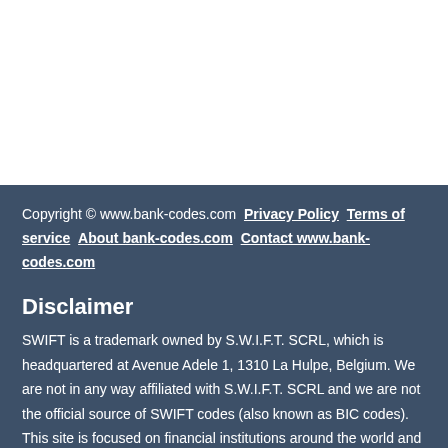Copyright © www.bank-codes.com  Privacy Policy  Terms of service  About bank-codes.com  Contact www.bank-codes.com
Disclaimer
SWIFT is a trademark owned by S.W.I.F.T. SCRL, which is headquartered at Avenue Adele 1, 1310 La Hulpe, Belgium. We are not in any way affiliated with S.W.I.F.T. SCRL and we are not the official source of SWIFT codes (also known as BIC codes). This site is focused on financial institutions around the world and information